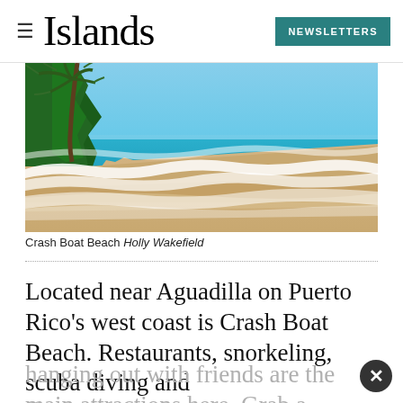Islands — NEWSLETTERS
[Figure (photo): Tropical beach scene with turquoise ocean waves, sandy shore, and a palm tree on the left side against a bright blue sky — Crash Boat Beach, Puerto Rico]
Crash Boat Beach Holly Wakefield
Located near Aguadilla on Puerto Rico's west coast is Crash Boat Beach. Restaurants, snorkeling, scuba diving and hanging out with friends are the main attractions here. Grab a drink, and relax